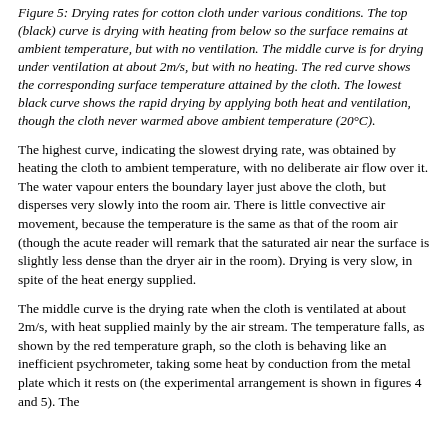Figure 5: Drying rates for cotton cloth under various conditions. The top (black) curve is drying with heating from below so the surface remains at ambient temperature, but with no ventilation. The middle curve is for drying under ventilation at about 2m/s, but with no heating. The red curve shows the corresponding surface temperature attained by the cloth. The lowest black curve shows the rapid drying by applying both heat and ventilation, though the cloth never warmed above ambient temperature (20°C).
The highest curve, indicating the slowest drying rate, was obtained by heating the cloth to ambient temperature, with no deliberate air flow over it. The water vapour enters the boundary layer just above the cloth, but disperses very slowly into the room air. There is little convective air movement, because the temperature is the same as that of the room air (though the acute reader will remark that the saturated air near the surface is slightly less dense than the dryer air in the room). Drying is very slow, in spite of the heat energy supplied.
The middle curve is the drying rate when the cloth is ventilated at about 2m/s, with heat supplied mainly by the air stream. The temperature falls, as shown by the red temperature graph, so the cloth is behaving like an inefficient psychrometer, taking some heat by conduction from the metal plate which it rests on (the experimental arrangement is shown in figures 4 and 5). The